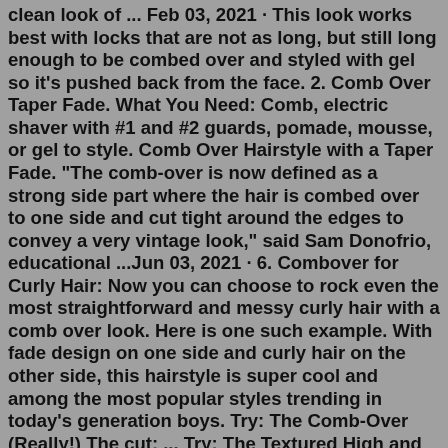clean look of ... Feb 03, 2021 · This look works best with locks that are not as long, but still long enough to be combed over and styled with gel so it's pushed back from the face. 2. Comb Over Taper Fade. What You Need: Comb, electric shaver with #1 and #2 guards, pomade, mousse, or gel to style. Comb Over Hairstyle with a Taper Fade. "The comb-over is now defined as a strong side part where the hair is combed over to one side and cut tight around the edges to convey a very vintage look," said Sam Donofrio, educational ...Jun 03, 2021 · 6. Combover for Curly Hair: Now you can choose to rock even the most straightforward and messy curly hair with a comb over look. Here is one such example. With fade design on one side and curly hair on the other side, this hairstyle is super cool and among the most popular styles trending in today's generation boys. Try: The Comb-Over (Really!) The cut: ... Try: The Textured High and Tight. The cut: If your hair isn't receding as much as it is thinning everywhere, then Rachel suggests a textured, medium-length side part and